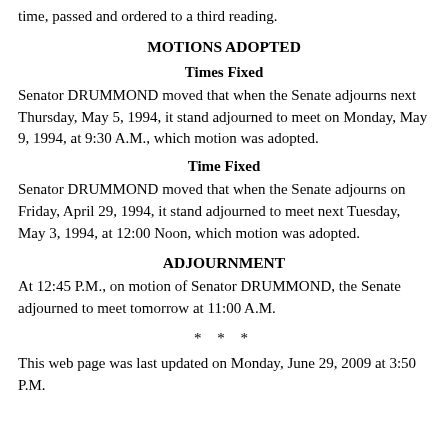time, passed and ordered to a third reading.
MOTIONS ADOPTED
Times Fixed
Senator DRUMMOND moved that when the Senate adjourns next Thursday, May 5, 1994, it stand adjourned to meet on Monday, May 9, 1994, at 9:30 A.M., which motion was adopted.
Time Fixed
Senator DRUMMOND moved that when the Senate adjourns on Friday, April 29, 1994, it stand adjourned to meet next Tuesday, May 3, 1994, at 12:00 Noon, which motion was adopted.
ADJOURNMENT
At 12:45 P.M., on motion of Senator DRUMMOND, the Senate adjourned to meet tomorrow at 11:00 A.M.
* * *
This web page was last updated on Monday, June 29, 2009 at 3:50 P.M.